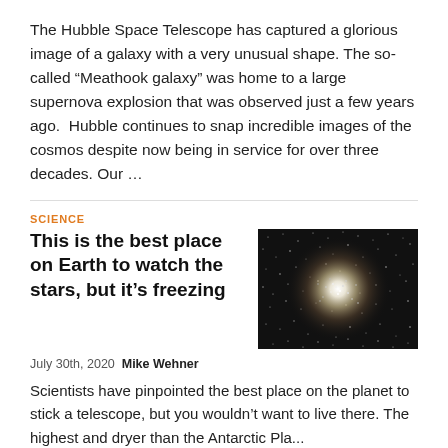The Hubble Space Telescope has captured a glorious image of a galaxy with a very unusual shape. The so-called “Meathook galaxy” was home to a large supernova explosion that was observed just a few years ago.  Hubble continues to snap incredible images of the cosmos despite now being in service for over three decades. Our …
SCIENCE
This is the best place on Earth to watch the stars, but it’s freezing
[Figure (photo): A dense globular star cluster with a bright white core surrounded by thousands of stars against a dark background.]
July 30th, 2020  Mike Wehner
Scientists have pinpointed the best place on the planet to stick a telescope, but you wouldn’t want to live there. The highest and dryer than the Antarctic Pla...